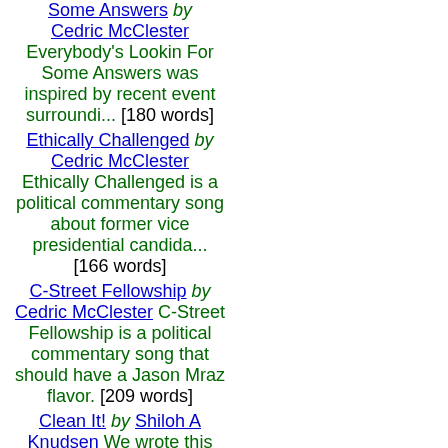Some Answers by Cedric McClester Everybody's Lookin For Some Answers was inspired by recent event surroundi... [180 words]
Ethically Challenged by Cedric McClester Ethically Challenged is a political commentary song about former vice presidential candida... [166 words]
C-Street Fellowship by Cedric McClester C-Street Fellowship is a political commentary song that should have a Jason Mraz flavor. [209 words]
Clean It! by Shiloh A Knudsen We wrote this song at work while cleaning the bathrooms. It was immediately after the death of Michae... [164 words]
Blood On The Tracks by Cedric McClester Blood On The Tracks should